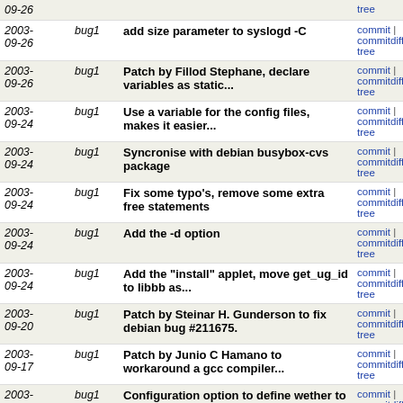| Date | Tag | Message | Links |
| --- | --- | --- | --- |
| 2003-09-26 | bug1 | add size parameter to syslogd -C | commit | commitdiff | tree |
| 2003-09-26 | bug1 | Patch by Fillod Stephane, declare variables as static... | commit | commitdiff | tree |
| 2003-09-24 | bug1 | Use a variable for the config files, makes it easier... | commit | commitdiff | tree |
| 2003-09-24 | bug1 | Syncronise with debian busybox-cvs package | commit | commitdiff | tree |
| 2003-09-24 | bug1 | Fix some typo's, remove some extra free statements | commit | commitdiff | tree |
| 2003-09-24 | bug1 | Add the -d option | commit | commitdiff | tree |
| 2003-09-24 | bug1 | Add the "install" applet, move get_ug_id to libbb as... | commit | commitdiff | tree |
| 2003-09-20 | bug1 | Patch by Steinar H. Gunderson to fix debian bug #211675. | commit | commitdiff | tree |
| 2003-09-17 | bug1 | Patch by Junio C Hamano to workaround a gcc compiler... | commit | commitdiff | tree |
| 2003-09-16 | bug1 | Configuration option to define wether to follows GNU... | commit | commitdiff | tree |
| 2003-09-16 | bug1 | Fix a bug that creapt in recently with substitution... | commit | commitdiff | tree |
| 2003-09-16 | bug1 | Compile get_terminal_width_height | commit | commitdiff | tree |
| 2003-09-15 | bug1 | Patch from Stephane Billiart to fix an unused variable... | commit | commitdiff | tree |